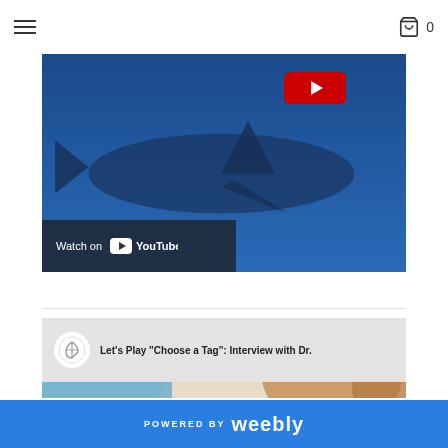Navigation bar with hamburger menu and cart icon (0)
[Figure (screenshot): YouTube video thumbnail showing a shark underwater in blue water with a red play button overlay and 'Watch on YouTube' label at bottom left]
[Figure (screenshot): YouTube video thumbnail titled "Let's Play 'Choose a Tag': Interview with Dr." showing a channel logo and a person's face/hair]
POWERED BY weebly